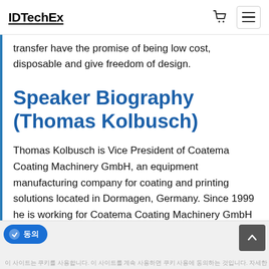IDTechEx
transfer have the promise of being low cost, disposable and give freedom of design.
Speaker Biography (Thomas Kolbusch)
Thomas Kolbusch is Vice President of Coatema Coating Machinery GmbH, an equipment manufacturing company for coating and printing solutions located in Dormagen, Germany. Since 1999 he is working for Coatema Coating Machinery GmbH in different positions. His responsibilities are marketing, sales and
이 사이트는 쿠키를 사용합니다. 이 사이트를 계속 사용하면 쿠키 사용에 동의하는 것입니다. 자세한 내용은 이 사이트의 쿠키 정책을 참조하십시오.